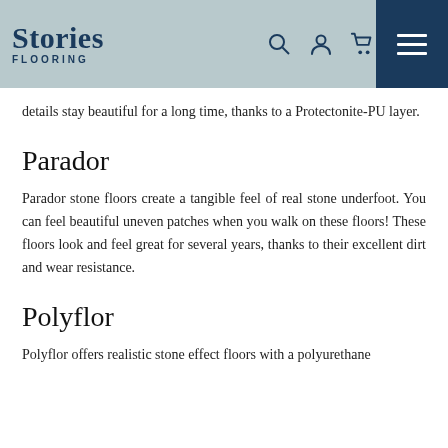Stories Flooring
details stay beautiful for a long time, thanks to a Protectonite-PU layer.
Parador
Parador stone floors create a tangible feel of real stone underfoot. You can feel beautiful uneven patches when you walk on these floors! These floors look and feel great for several years, thanks to their excellent dirt and wear resistance.
Polyflor
Polyflor offers realistic stone effect floors with a polyurethane